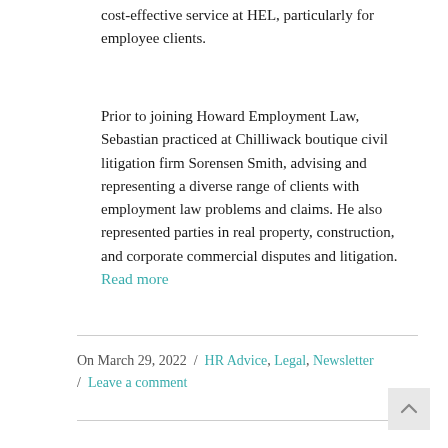cost-effective service at HEL, particularly for employee clients.
Prior to joining Howard Employment Law, Sebastian practiced at Chilliwack boutique civil litigation firm Sorensen Smith, advising and representing a diverse range of clients with employment law problems and claims. He also represented parties in real property, construction, and corporate commercial disputes and litigation.
Read more
On March 29, 2022  /  HR Advice, Legal, Newsletter / Leave a comment